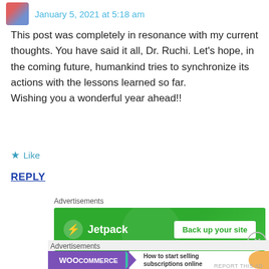January 5, 2021 at 5:18 am
This post was completely in resonance with my current thoughts. You have said it all, Dr. Ruchi. Let’s hope, in the coming future, humankind tries to synchronize its actions with the lessons learned so far.
Wishing you a wonderful year ahead!!
★ Like
REPLY
Advertisements
[Figure (screenshot): Jetpack advertisement banner with green background showing Jetpack logo and 'Back up your site' button]
REPORT THIS AD
Advertisements
[Figure (screenshot): WooCommerce advertisement banner showing WooCommerce logo with teal arrow and text 'How to start selling subscriptions online']